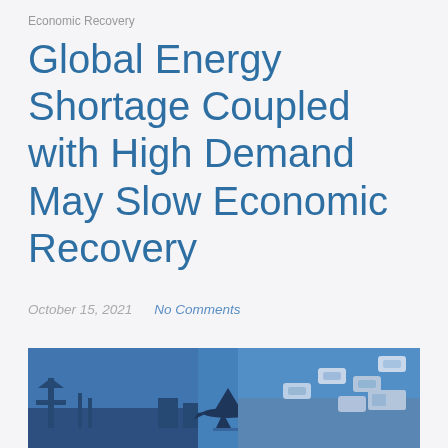Economic Recovery
Global Energy Shortage Coupled with High Demand May Slow Economic Recovery
October 15, 2021    No Comments
[Figure (photo): Composite blue-tinted photo showing an oil pump jack on the left, an airplane silhouette in the center, and cars on a highway on the right. All images have a blue color overlay.]